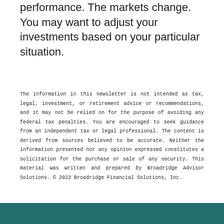performance. The markets change. You may want to adjust your investments based on your particular situation.
The information in this newsletter is not intended as tax, legal, investment, or retirement advice or recommendations, and it may not be relied on for the purpose of avoiding any federal tax penalties. You are encouraged to seek guidance from an independent tax or legal professional. The content is derived from sources believed to be accurate. Neither the information presented nor any opinion expressed constitutes a solicitation for the purchase or sale of any security. This material was written and prepared by Broadridge Advisor Solutions. © 2022 Broadridge Financial Solutions, Inc.